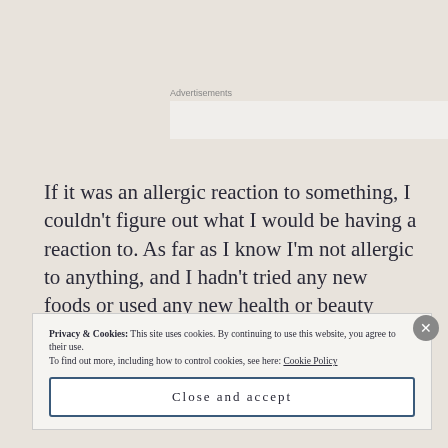Advertisements
If it was an allergic reaction to something, I couldn't figure out what I would be having a reaction to. As far as I know I'm not allergic to anything, and I hadn't tried any new foods or used any new health or beauty products.
Privacy & Cookies: This site uses cookies. By continuing to use this website, you agree to their use.
To find out more, including how to control cookies, see here: Cookie Policy
Close and accept